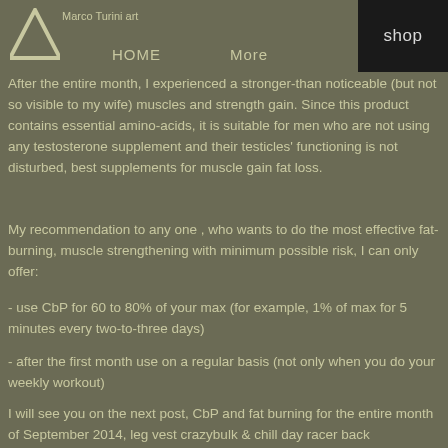Marco Turini art  HOME  More  shop
After the entire month, I experienced a stronger-than noticeable (but not so visible to my wife) muscles and strength gain. Since this product contains essential amino-acids, it is suitable for men who are not using any testosterone supplement and their testicles' functioning is not disturbed, best supplements for muscle gain fat loss.
My recommendation to any one , who wants to do the most effective fat-burning, muscle strengthening with minimum possible risk, I can only offer:
- use CbP for 60 to 80% of your max (for example, 1% of max for 5 minutes every two-to-three days)
- after the first month use on a regular basis (not only when you do your weekly workout)
I will see you on the next post, CbP and fat burning for the entire month of September 2014, leg vest crazybulk & chill day racer back